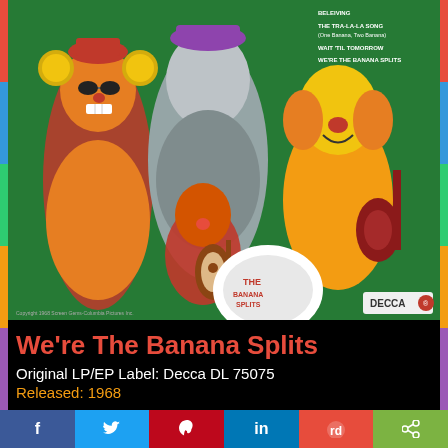[Figure (photo): Album cover for 'We're The Banana Splits' on Decca label. Shows costumed animal characters (The Banana Splits) posing with musical instruments on a green background. Decca logo visible in lower right. Track listing partially visible on upper right.]
We're The Banana Splits
Original LP/EP Label: Decca DL 75075
Released: 1968
Buy at Amazon
Songs from this album played on TWOS:
In New Orleans